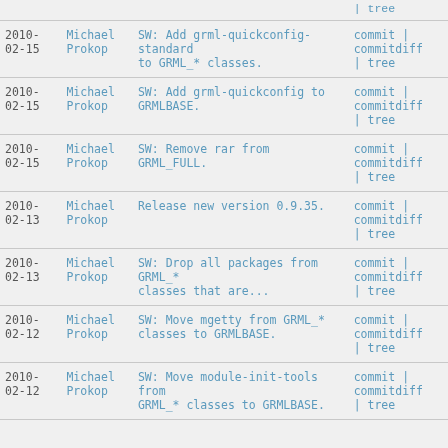| Date | Author | Message | Links |
| --- | --- | --- | --- |
| 2010-02-15 | Michael Prokop | SW: Add grml-quickconfig-standard to GRML_* classes. | commit | commitdiff | tree |
| 2010-02-15 | Michael Prokop | SW: Add grml-quickconfig to GRMLBASE. | commit | commitdiff | tree |
| 2010-02-15 | Michael Prokop | SW: Remove rar from GRML_FULL. | commit | commitdiff | tree |
| 2010-02-13 | Michael Prokop | Release new version 0.9.35. | commit | commitdiff | tree |
| 2010-02-13 | Michael Prokop | SW: Drop all packages from GRML_* classes that are... | commit | commitdiff | tree |
| 2010-02-12 | Michael Prokop | SW: Move mgetty from GRML_* classes to GRMLBASE. | commit | commitdiff | tree |
| 2010-02-12 | Michael Prokop | SW: Move module-init-tools from GRML_* classes to GRMLBASE. | commit | commitdiff | tree |